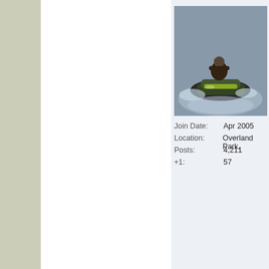[Figure (photo): Person riding a jet ski on water, aerial/action shot]
Join Date:    Apr 2005
Location:     Overland Park,
Posts:        4,211
+1:           57
Quick Navigatio